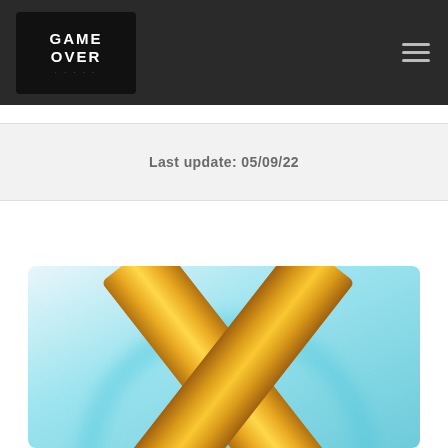GAME OVER
Last update: 05/09/22
[Figure (photo): PlayStation Plus gold logo (two gold bars forming an X shape) on a light blue/teal blurred background with a circular arc element]